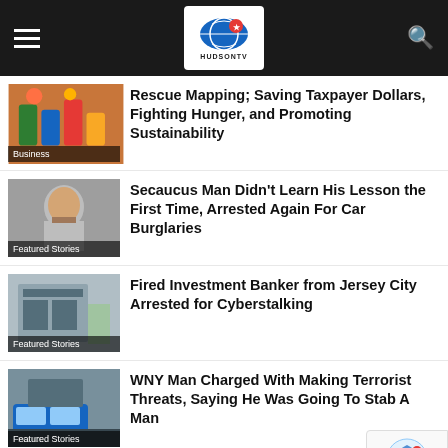HudsonTV
[Figure (photo): People with waste/recycling bins, Business category thumbnail]
Rescue Mapping; Saving Taxpayer Dollars, Fighting Hunger, and Promoting Sustainability
[Figure (photo): Mugshot of a man, Featured Stories thumbnail]
Secaucus Man Didn’t Learn His Lesson the First Time, Arrested Again For Car Burglaries
[Figure (photo): Courthouse building exterior, Featured Stories thumbnail]
Fired Investment Banker from Jersey City Arrested for Cyberstalking
[Figure (photo): Police car outside building, Featured Stories thumbnail]
WNY Man Charged With Making Terrorist Threats, Saying He Was Going To Stab A Man
[Figure (photo): Construction/building scene, partial view]
Hoboken Gets State Funding To